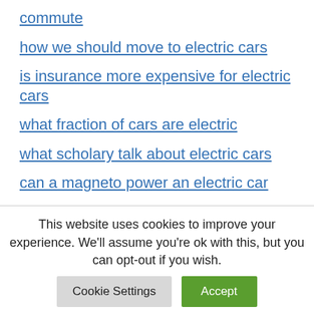commute
how we should move to electric cars
is insurance more expensive for electric cars
what fraction of cars are electric
what scholary talk about electric cars
can a magneto power an electric car
do electric cars have a clutch
what would cause a car to lose all
This website uses cookies to improve your experience. We'll assume you're ok with this, but you can opt-out if you wish.